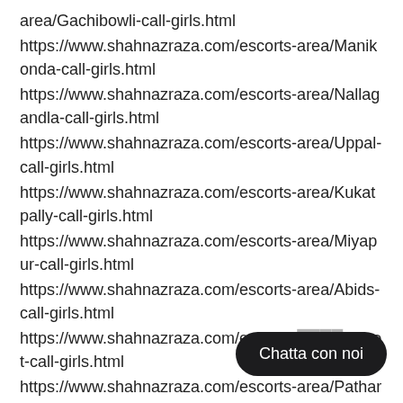area/Gachibowli-call-girls.html
https://www.shahnazraza.com/escorts-area/Manikonda-call-girls.html
https://www.shahnazraza.com/escorts-area/Nallagandla-call-girls.html
https://www.shahnazraza.com/escorts-area/Uppal-call-girls.html
https://www.shahnazraza.com/escorts-area/Kukatpally-call-girls.html
https://www.shahnazraza.com/escorts-area/Miyapur-call-girls.html
https://www.shahnazraza.com/escorts-area/Abids-call-girls.html
https://www.shahnazraza.com/escorts-[...]-Street-call-girls.html
https://www.shahnazraza.com/escorts-area/Pathargatti-call-girls.html
Chatta con noi